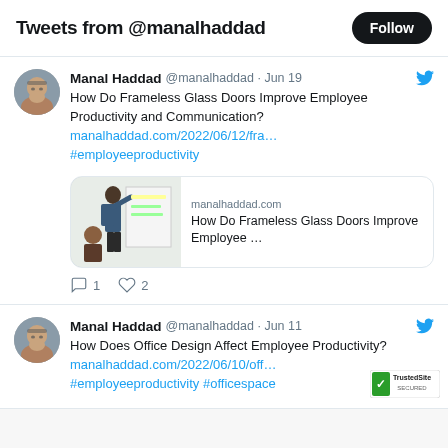Tweets from @manalhaddad
Manal Haddad @manalhaddad · Jun 19
How Do Frameless Glass Doors Improve Employee Productivity and Communication?
manalhaddad.com/2022/06/12/fra…
#employeeproductivity
[Figure (screenshot): Link preview card showing manalhaddad.com with image of person at whiteboard. Title: How Do Frameless Glass Doors Improve Employee …]
1  2
Manal Haddad @manalhaddad · Jun 11
How Does Office Design Affect Employee Productivity?
manalhaddad.com/2022/06/10/off…
#employeeproductivity #officespace